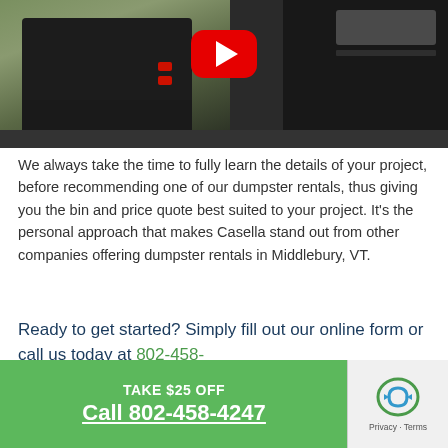[Figure (screenshot): Video thumbnail showing a garbage truck and dumpster on a residential street with a red YouTube play button overlay]
We always take the time to fully learn the details of your project, before recommending one of our dumpster rentals, thus giving you the bin and price quote best suited to your project. It's the personal approach that makes Casella stand out from other companies offering dumpster rentals in Middlebury, VT.
Ready to get started? Simply fill out our online form or call us today at 802-458-
TAKE $25 OFF
Call 802-458-4247